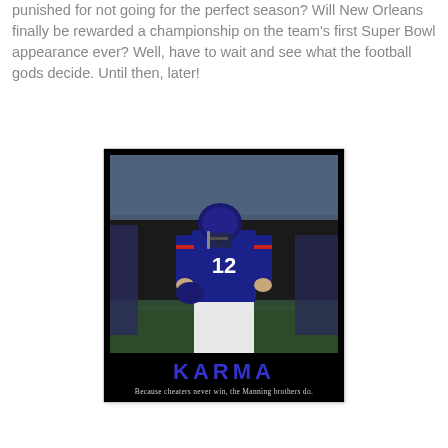punished for not going for the perfect season? Will New Orleans finally be rewarded a championship on the team's first Super Bowl appearance ever? Well, have to wait and see what the football gods decide. Until then, later!
[Figure (photo): Motivational poster style image showing a New England Patriots quarterback wearing jersey #12, head down, walking on the field. Black background with the word KARMA in large blue letters and the caption 'Because cheaters never win, the Manning brothers do.']